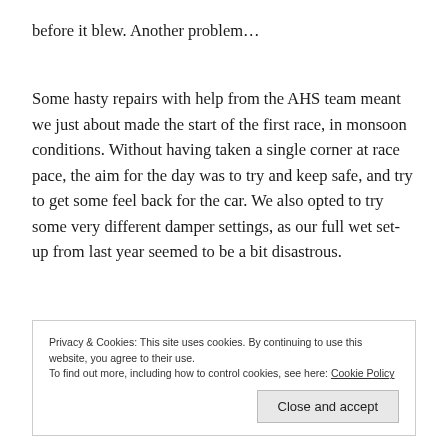before it blew. Another problem…
Some hasty repairs with help from the AHS team meant we just about made the start of the first race, in monsoon conditions. Without having taken a single corner at race pace, the aim for the day was to try and keep safe, and try to get some feel back for the car. We also opted to try some very different damper settings, as our full wet set-up from last year seemed to be a bit disastrous.
Privacy & Cookies: This site uses cookies. By continuing to use this website, you agree to their use. To find out more, including how to control cookies, see here: Cookie Policy
Close and accept